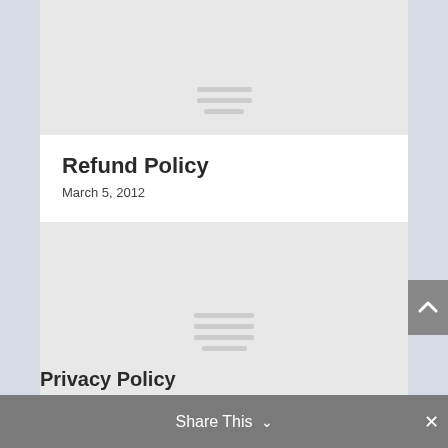[Figure (other): Gray placeholder box with horizontal lines (hamburger icon) representing an image or content block at the top]
Refund Policy
March 5, 2012
[Figure (other): Large gray placeholder box with horizontal lines (hamburger icon) representing an image or content block]
Share This ∨  ✕
Privacy Policy